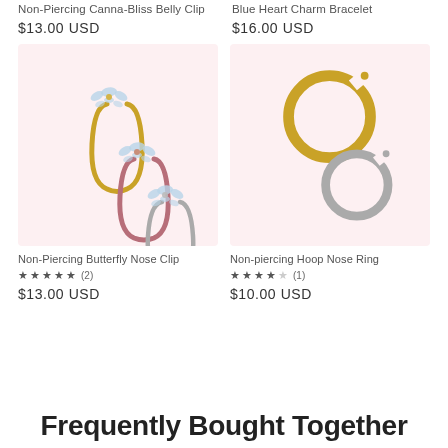Non-Piercing Canna-Bliss Belly Clip
$13.00 USD
Blue Heart Charm Bracelet
$16.00 USD
[Figure (photo): Three butterfly nose clips in gold, rose gold, and silver with crystal embellishments on a pink background]
[Figure (photo): Two hoop nose rings, one gold and one silver, on a pink background]
Non-Piercing Butterfly Nose Clip
★★★★★ (2)
$13.00 USD
Non-piercing Hoop Nose Ring
★★★★☆ (1)
$10.00 USD
Frequently Bought Together